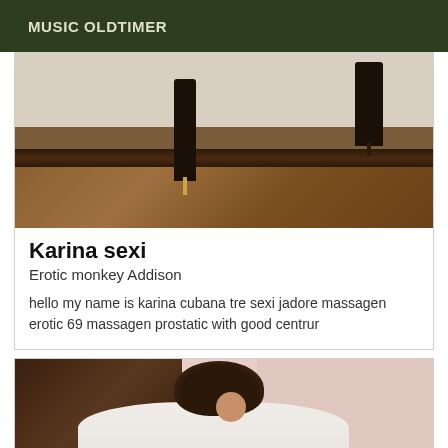MUSIC OLDTIMER
[Figure (photo): Photo of high heeled shoes on a wooden table surface]
Karina sexi
Erotic monkey Addison
hello my name is karina cubana tre sexi jadore massagen erotic 69 massagen prostatic with good centrur
[Figure (photo): Photo of a person with dark curly hair wearing a white shirt, pink background]